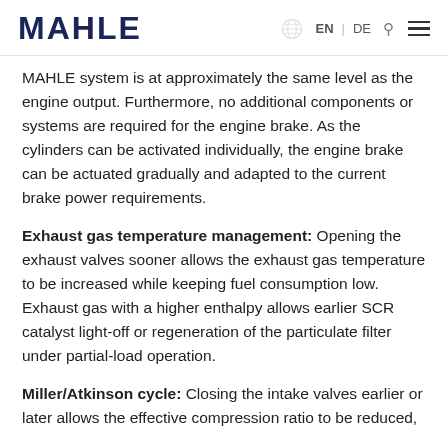MAHLE | EN | DE
MAHLE system is at approximately the same level as the engine output. Furthermore, no additional components or systems are required for the engine brake. As the cylinders can be activated individually, the engine brake can be actuated gradually and adapted to the current brake power requirements.
Exhaust gas temperature management: Opening the exhaust valves sooner allows the exhaust gas temperature to be increased while keeping fuel consumption low. Exhaust gas with a higher enthalpy allows earlier SCR catalyst light-off or regeneration of the particulate filter under partial-load operation.
Miller/Atkinson cycle: Closing the intake valves earlier or later allows the effective compression ratio to be reduced,